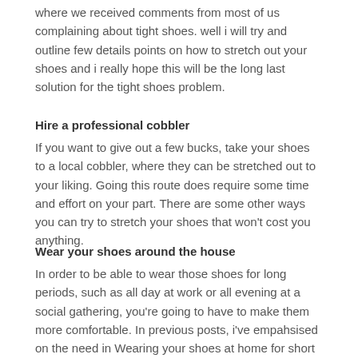where we received comments from most of us complaining about tight shoes. well i will try and outline few details points on how to stretch out your shoes and i really hope this will be the long last solution for the tight shoes problem.
Hire a professional cobbler
If you want to give out a few bucks, take your shoes to a local cobbler, where they can be stretched out to your liking. Going this route does require some time and effort on your part. There are some other ways you can try to stretch your shoes that won't cost you anything.
Wear your shoes around the house
In order to be able to wear those shoes for long periods, such as all day at work or all evening at a social gathering, you're going to have to make them more comfortable. In previous posts, i've empahsised on the need in Wearing your shoes at home for short periods will help loosen the material and stretch out the shoes. When the shoes hurt your foot